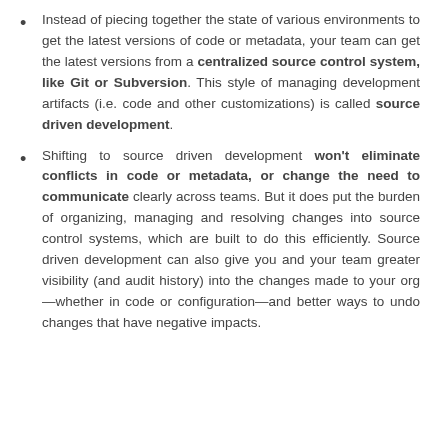Instead of piecing together the state of various environments to get the latest versions of code or metadata, your team can get the latest versions from a centralized source control system, like Git or Subversion. This style of managing development artifacts (i.e. code and other customizations) is called source driven development.
Shifting to source driven development won't eliminate conflicts in code or metadata, or change the need to communicate clearly across teams. But it does put the burden of organizing, managing and resolving changes into source control systems, which are built to do this efficiently. Source driven development can also give you and your team greater visibility (and audit history) into the changes made to your org—whether in code or configuration—and better ways to undo changes that have negative impacts.